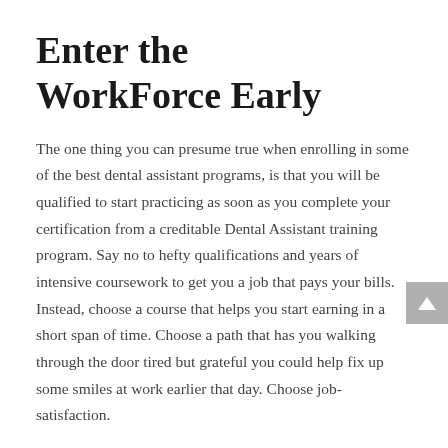Enter the WorkForce Early
The one thing you can presume true when enrolling in some of the best dental assistant programs, is that you will be qualified to start practicing as soon as you complete your certification from a creditable Dental Assistant training program. Say no to hefty qualifications and years of intensive coursework to get you a job that pays your bills. Instead, choose a course that helps you start earning in a short span of time. Choose a path that has you walking through the door tired but grateful you could help fix up some smiles at work earlier that day. Choose job-satisfaction.